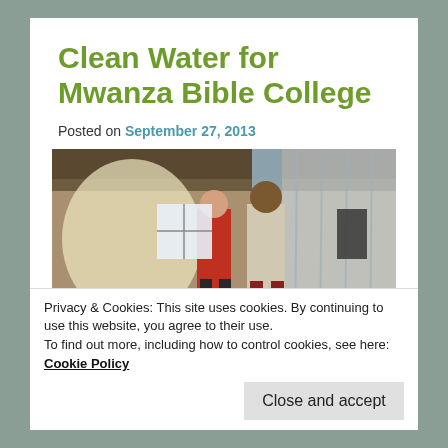Clean Water for Mwanza Bible College
Posted on September 27, 2013
[Figure (photo): Two people standing and talking inside a decorated hall with white and blue drapes and a metal roof. One person wears a red shirt, the other a light shirt.]
Privacy & Cookies: This site uses cookies. By continuing to use this website, you agree to their use.
To find out more, including how to control cookies, see here: Cookie Policy
Close and accept